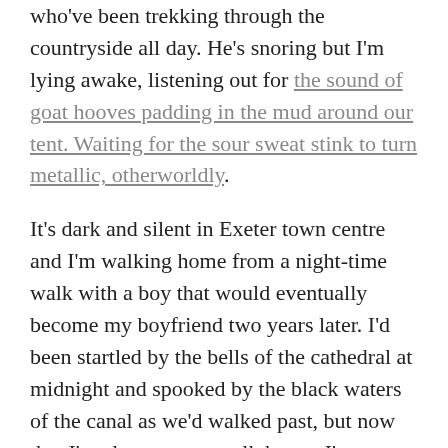who've been trekking through the countryside all day. He's snoring but I'm lying awake, listening out for the sound of goat hooves padding in the mud around our tent. Waiting for the sour sweat stink to turn metallic, otherworldly.
It's dark and silent in Exeter town centre and I'm walking home from a night-time walk with a boy that would eventually become my boyfriend two years later. I'd been startled by the bells of the cathedral at midnight and spooked by the black waters of the canal as we'd walked past, but now that I'm alone on my walk home, I'm more terrified than ever. I can't quite shake the feeling that I'll run into a man in a suit, smiling to himself and waltzing down the road towards me.